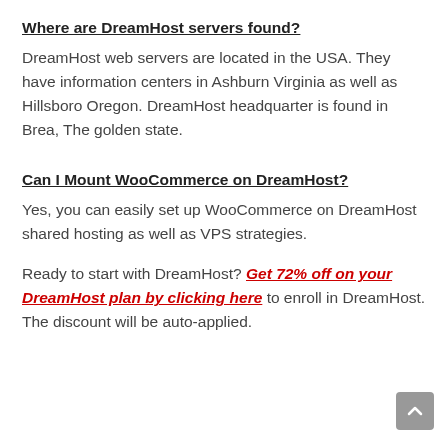Where are DreamHost servers found?
DreamHost web servers are located in the USA. They have information centers in Ashburn Virginia as well as Hillsboro Oregon. DreamHost headquarter is found in Brea, The golden state.
Can I Mount WooCommerce on DreamHost?
Yes, you can easily set up WooCommerce on DreamHost shared hosting as well as VPS strategies.
Ready to start with DreamHost? Get 72% off on your DreamHost plan by clicking here to enroll in DreamHost. The discount will be auto-applied.